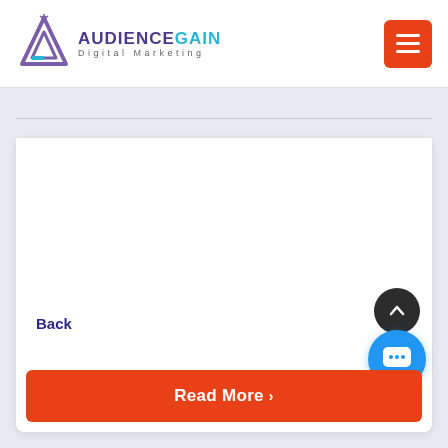[Figure (logo): AudienceGain Digital Marketing logo with triangle/geometric icon in purple and blue]
[Figure (other): Red/orange hamburger menu button (three horizontal lines)]
Back
[Figure (other): Dark circular scroll-to-top button with upward chevron arrow]
[Figure (other): Blue circular chat/message button with ellipsis dots]
Read More >